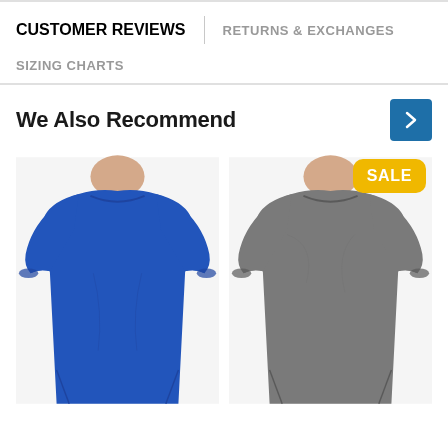CUSTOMER REVIEWS
RETURNS & EXCHANGES
SIZING CHARTS
We Also Recommend
[Figure (photo): Blue long-sleeve crew neck top worn by a female model, cropped to show neck to waist]
[Figure (photo): Gray heather long-sleeve crew neck top worn by a female model, cropped to show neck to waist, with a yellow SALE badge in the top right corner]